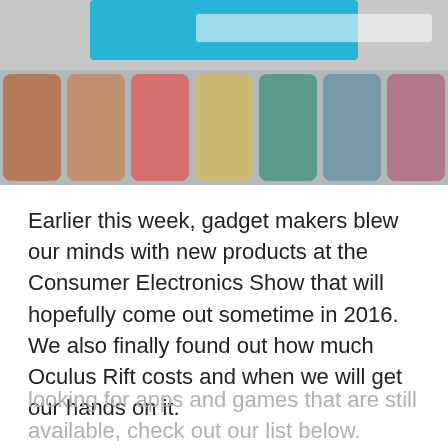[Figure (screenshot): Screenshot of a mobile app or website showing a teal/blue banner at top and a row of app icon thumbnails below it]
Earlier this week, gadget makers blew our minds with new products at the Consumer Electronics Show that will hopefully come out sometime in 2016. We also finally found out how much Oculus Rift costs and when we will get our hands on it.
It was a bigger week for hardware than it was for apps. Although, if you were lucky, you downloaded Vidyo before it was pulled from the App Store. As the weekend rolls by, if you are looking for apps and games that are still available, check out our list below.